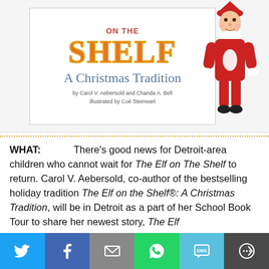[Figure (illustration): Book cover of 'Elf on the Shelf: A Christmas Tradition' by Carol V. Aebersold and Chanda A. Bell, illustrated by Coe Steinwart, alongside an Elf on the Shelf toy figure dressed in red and white.]
WHAT: There's good news for Detroit-area children who cannot wait for The Elf on The Shelf to return. Carol V. Aebersold, co-author of the bestselling holiday tradition The Elf on the Shelf®: A Christmas Tradition, will be in Detroit as a part of her School Book Tour to share her newest story, The Elf on the Shelf®: A Birthday Tradition. Carol will be reading...
[Figure (infographic): Social media sharing bar with icons for Twitter, Facebook, Email, WhatsApp, SMS, and More.]